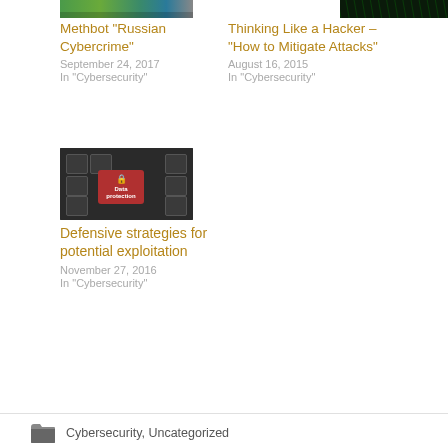[Figure (photo): Screenshot of browser tabs or app icons bar at top]
Methbot “Russian Cybercrime”
September 24, 2017
In "Cybersecurity"
[Figure (photo): Green code on black background, digital/hacker theme]
Thinking Like a Hacker – “How to Mitigate Attacks”
August 16, 2015
In "Cybersecurity"
[Figure (photo): Keyboard with red Data Protection key with padlock icon]
Defensive strategies for potential exploitation
November 27, 2016
In "Cybersecurity"
Cybersecurity, Uncategorized